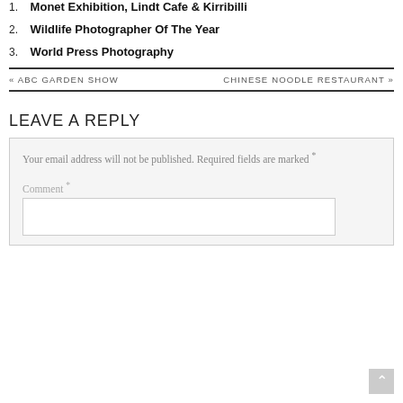1. Monet Exhibition, Lindt Cafe & Kirribilli
2. Wildlife Photographer Of The Year
3. World Press Photography
« ABC GARDEN SHOW    CHINESE NOODLE RESTAURANT »
LEAVE A REPLY
Your email address will not be published. Required fields are marked *
Comment *